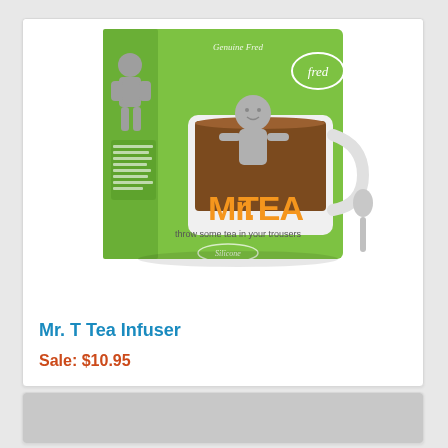[Figure (photo): Mr. T Tea Infuser product box — a green cardboard box showing a white ceramic mug with a gray silicone humanoid figure (tea infuser) sitting inside the mug filled with tea. The box reads 'Mr. TEA' in large orange letters and 'throw some tea in your trousers' beneath it. A silver spoon is visible to the right. The 'fred' brand logo appears in the upper right corner. 'Silicone' is printed at the bottom of the box.]
Mr. T Tea Infuser
Sale: $10.95